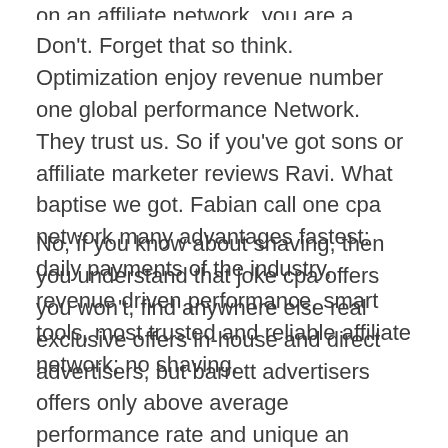on an affiliate network, you are a publisher.
Don't. Forget that so think. Optimization enjoy revenue number one global performance Network. They trust us. So if you've got sons or affiliate marketer reviews Ravi. What baptise we got. Fabian call one cpa network many advantages fastest: daily payments of the industry, revenue driven performance, smart tools, most trusted and reliable affiliate network; no shaving.
No, if you know about shaving, then you understand that joke cpa offers you won't, find anywhere else real exclusive offers in-house and direct advertisers, but barrett advertisers offers only above average performance rate and unique an intuitive platform top-notch support and professional performance specialized Team, so your your affiliate managers up and ready to give you some help.